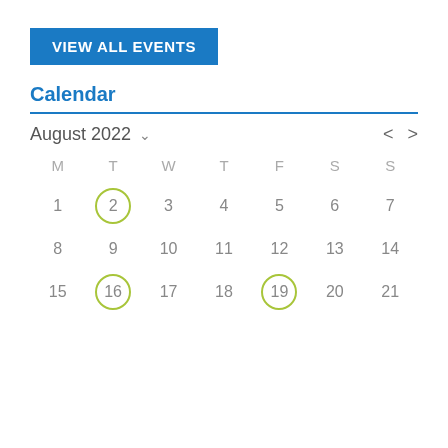[Figure (screenshot): Blue button labeled VIEW ALL EVENTS]
Calendar
[Figure (other): Calendar widget showing August 2022. Days M T W T F S S with dates 1–21 visible. Dates 2, 16, and 19 are circled in green/yellow-green.]